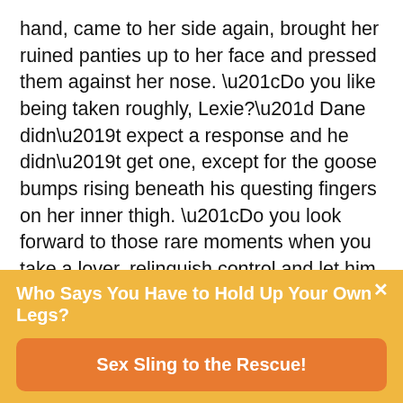hand, came to her side again, brought her ruined panties up to her face and pressed them against her nose. “Do you like being taken roughly, Lexie?” Dane didn’t expect a response and he didn’t get one, except for the goose bumps rising beneath his questing fingers on her inner thigh. “Do you look forward to those rare moments when you take a lover, relinquish control and let him fuck you? Look at me.”
When she turned her head to meet his gaze, the brief glimpse of pain Dane saw in her eyes almost made
Who Says You Have to Hold Up Your Own Legs?
Sex Sling to the Rescue!